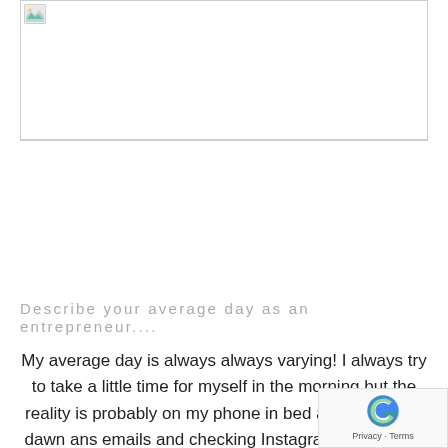[Figure (photo): Image placeholder with broken image icon in top-left corner, bordered rectangle]
Describe your average day as an entrepreneur....
My average day is always always varying! I always try to take a little time for myself in the morning but the reality is probably on my phone in bed at the crack of dawn ans emails and checking Instagram messages. This is a habit I am